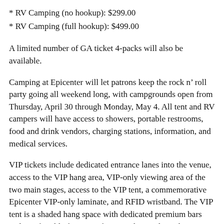* RV Camping (no hookup): $299.00
* RV Camping (full hookup): $499.00
A limited number of GA ticket 4-packs will also be available.
Camping at Epicenter will let patrons keep the rock n’ roll party going all weekend long, with campgrounds open from Thursday, April 30 through Monday, May 4. All tent and RV campers will have access to showers, portable restrooms, food and drink vendors, charging stations, information, and medical services.
VIP tickets include dedicated entrance lanes into the venue, access to the VIP hang area, VIP-only viewing area of the two main stages, access to the VIP tent, a commemorative Epicenter VIP-only laminate, and RFID wristband. The VIP tent is a shaded hang space with dedicated premium bars and comfortable furniture, featuring live audio/video streams of the two main stages, air conditioned flushable restrooms,